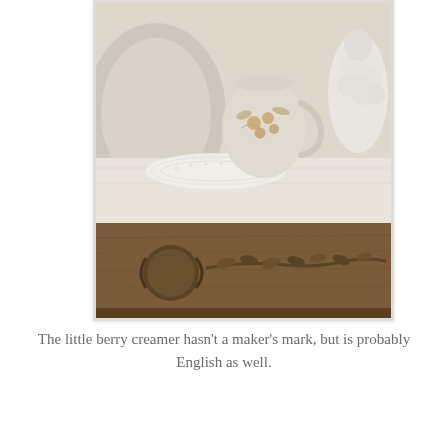[Figure (photo): Close-up photograph of antique cream-colored porcelain pieces including a small creamer with brown berry and leaf design, a plate, and a white ceramic lamb figurine, arranged on a wooden shelf with carved floral molding below, with a white lace doily]
The little berry creamer hasn't a maker's mark, but is probably English as well.